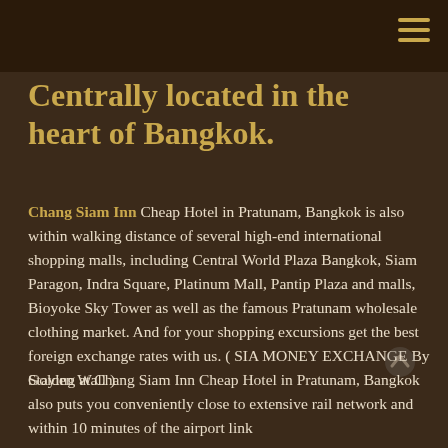Centrally located in the heart of Bangkok.
Chang Siam Inn Cheap Hotel in Pratunam, Bangkok is also within walking distance of several high-end international shopping malls, including Central World Plaza Bangkok, Siam Paragon, Indra Square, Platinum Mall, Pantip Plaza and malls, Bioyoke Sky Tower as well as the famous Pratunam wholesale clothing market. And for your shopping excursions get the best foreign exchange rates with us. ( SIA MONEY EXCHANGE By Golden Wall )
Staying at Chang Siam Inn Cheap Hotel in Pratunam, Bangkok also puts you conveniently close to extensive rail network and within 10 minutes of the airport link